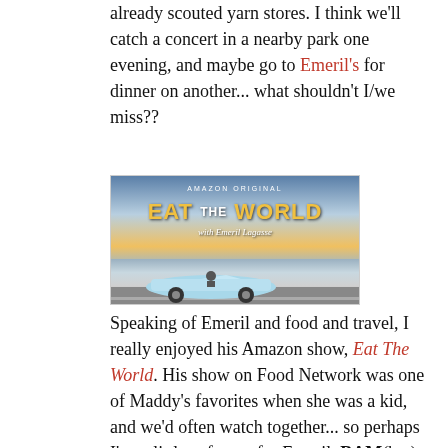already scouted yarn stores. I think we'll catch a concert in a nearby park one evening, and maybe go to Emeril's for dinner on another... what shouldn't I/we miss??
[Figure (photo): Amazon Original 'Eat The World with Emeril Lagasse' promotional image showing a man driving a light blue vintage convertible car on a road, with a scenic mountain and sunset backdrop.]
Speaking of Emeril and food and travel, I really enjoyed his Amazon show, Eat The World. His show on Food Network was one of Maddy's favorites when she was a kid, and we'd often watch together... so perhaps I've a little soft spot for Emeril. BAM(b...)